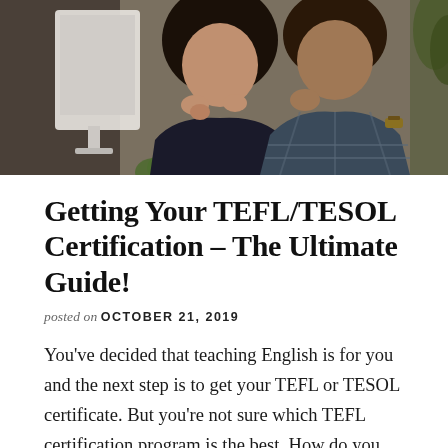[Figure (photo): Two people, a woman and a man, sitting together in front of a computer monitor, both with hands near their chins in a thoughtful pose. The woman is in the foreground wearing a dark top; the man is wearing a plaid shirt and a watch.]
Getting Your TEFL/TESOL Certification – The Ultimate Guide!
posted on OCTOBER 21, 2019
You've decided that teaching English is for you and the next step is to get your TEFL or TESOL certificate. But you're not sure which TEFL certification program is the best. How do you choose your …